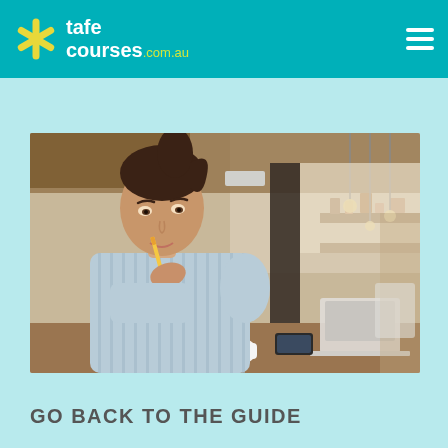tafecourses.com.au
[Figure (photo): Young woman in a striped blue shirt sitting at a desk in a cafe/open workspace, holding a pencil to her lips thoughtfully, with a laptop and coffee cup on the desk, pendant lights and shelving in background.]
GO BACK TO THE GUIDE